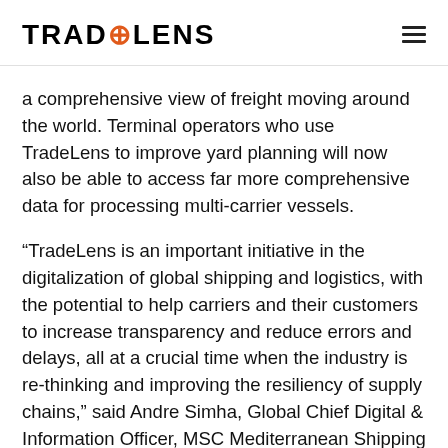TRADELENS
a comprehensive view of freight moving around the world. Terminal operators who use TradeLens to improve yard planning will now also be able to access far more comprehensive data for processing multi-carrier vessels.
“TradeLens is an important initiative in the digitalization of global shipping and logistics, with the potential to help carriers and their customers to increase transparency and reduce errors and delays, all at a crucial time when the industry is re-thinking and improving the resiliency of supply chains,” said Andre Simha, Global Chief Digital & Information Officer, MSC Mediterranean Shipping Company. “By completing the integration, we can